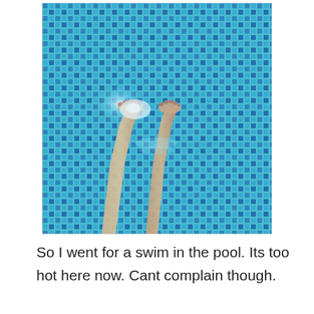[Figure (photo): A photo taken looking down at two bare legs and feet submerged in a blue mosaic-tiled swimming pool. The water is clear and blue, with bright light reflecting off the surface near the feet. The pool tiles are a mix of light blue, medium blue, and dark navy blue in a square mosaic pattern.]
So I went for a swim in the pool. Its too hot here now. Cant complain though.